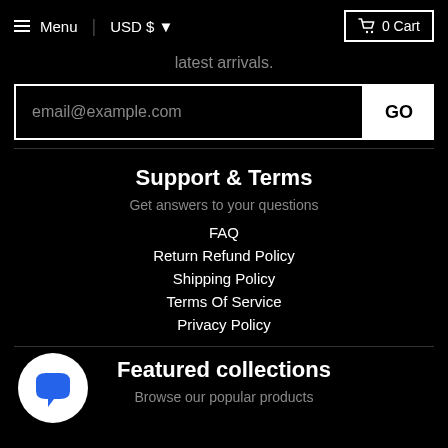Menu  USD $  0 Cart
latest arrivals.
email@example.com  GO
Support & Terms
Get answers to your questions
FAQ
Return Refund Policy
Shipping Policy
Terms Of Service
Privacy Policy
[Figure (illustration): White circle with blue speech/chat bubble icon]
Featured collections
Browse our popular products